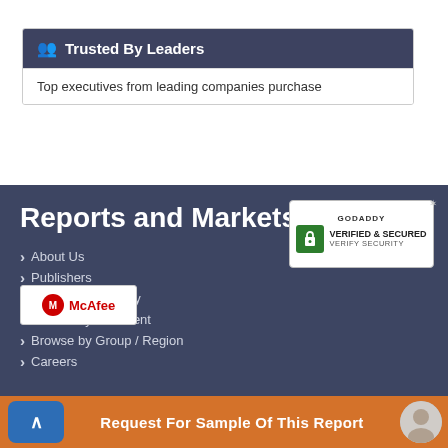Trusted By Leaders
Top executives from leading companies purchase
Reports and Markets
About Us
Publishers
Browse by Country
Browse by Continent
Browse by Group / Region
Careers
[Figure (logo): GoDaddy Verified & Secured badge]
[Figure (logo): McAfee logo/badge]
Request For Sample Of This Report